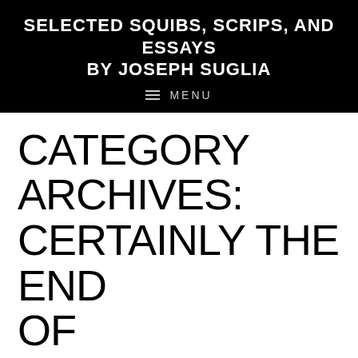SELECTED SQUIBS, SCRIPS, AND ESSAYS BY JOSEPH SUGLIA
CATEGORY ARCHIVES: CERTAINLY THE END OF SOMETHING OR OTHER ONE WOULD SORT OF HAVE TO THINK DAVID FOSTER